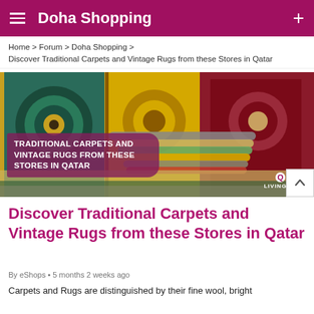Doha Shopping
Home > Forum > Doha Shopping > Discover Traditional Carpets and Vintage Rugs from these Stores in Qatar
[Figure (photo): Display of traditional carpets and vintage rugs in a store in Qatar, showing colorful rolled and hanging rugs with intricate patterns. Overlay text reads: TRADITIONAL CARPETS AND VINTAGE RUGS FROM THESE STORES IN QATAR. Qatar Living logo in bottom right.]
Discover Traditional Carpets and Vintage Rugs from these Stores in Qatar
By eShops • 5 months 2 weeks ago
Carpets and Rugs are distinguished by their fine wool, bright